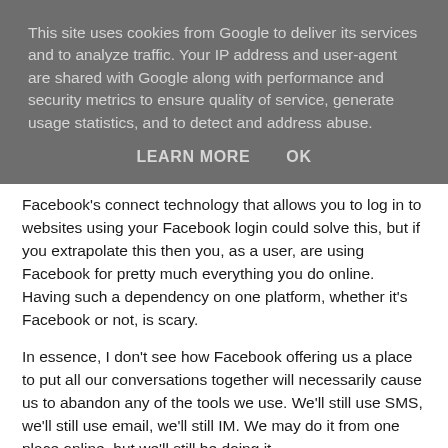This site uses cookies from Google to deliver its services and to analyze traffic. Your IP address and user-agent are shared with Google along with performance and security metrics to ensure quality of service, generate usage statistics, and to detect and address abuse.
LEARN MORE   OK
Facebook's connect technology that allows you to log in to websites using your Facebook login could solve this, but if you extrapolate this then you, as a user, are using Facebook for pretty much everything you do online. Having such a dependency on one platform, whether it's Facebook or not, is scary.
In essence, I don't see how Facebook offering us a place to put all our conversations together will necessarily cause us to abandon any of the tools we use. We'll still use SMS, we'll still use email, we'll still IM. We may do it from one place online, but we'll still be doing it.
And don't forget we still need non data dependent platforms